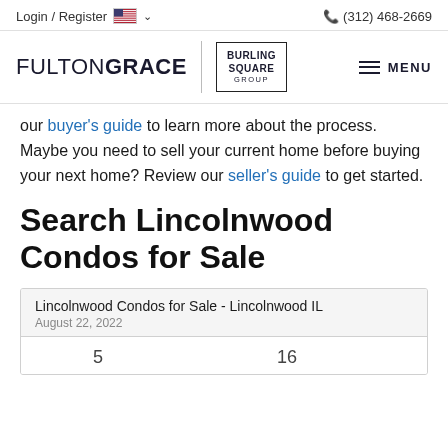Login / Register  (312) 468-2669
[Figure (logo): FultonGrace | Burling Square Group logo with hamburger menu]
our buyer's guide to learn more about the process. Maybe you need to sell your current home before buying your next home? Review our seller's guide to get started.
Search Lincolnwood Condos for Sale
| Lincolnwood Condos for Sale - Lincolnwood IL | August 22, 2022 |
| --- | --- |
| 5 | 16 |